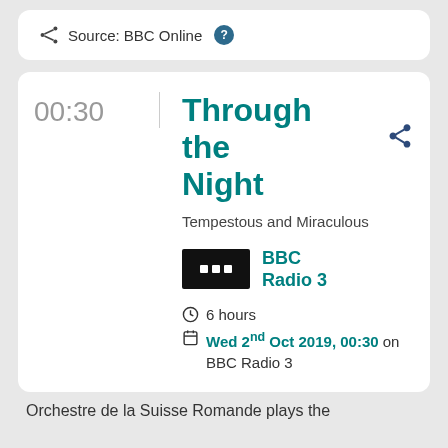Source: BBC Online
Through the Night
Tempestous and Miraculous
BBC Radio 3
6 hours
Wed 2nd Oct 2019, 00:30 on BBC Radio 3
Orchestre de la Suisse Romande plays the